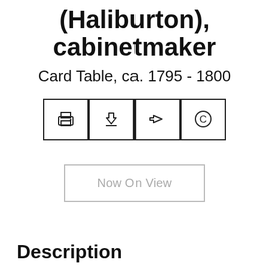(Haliburton), cabinetmaker
Card Table, ca. 1795 - 1800
[Figure (infographic): Row of four icon buttons: print icon, download icon, share/forward arrow icon, copyright icon, each in a bordered square box]
Now On View
Description